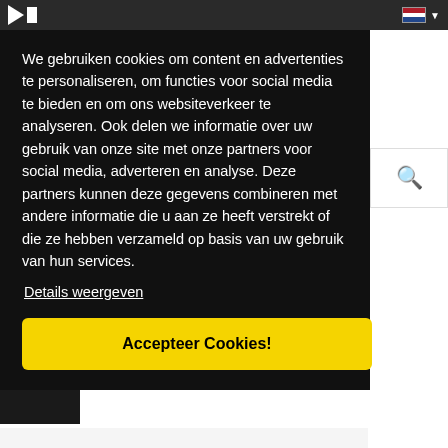We gebruiken cookies om content en advertenties te personaliseren, om functies voor social media te bieden en om ons websiteverkeer te analyseren. Ook delen we informatie over uw gebruik van onze site met onze partners voor social media, adverteren en analyse. Deze partners kunnen deze gegevens combineren met andere informatie die u aan ze heeft verstrekt of die ze hebben verzameld op basis van uw gebruik van hun services.
Details weergeven
Accepteer Cookies!
Glen Hansard
FALLING SLOWLY (ALLEEN